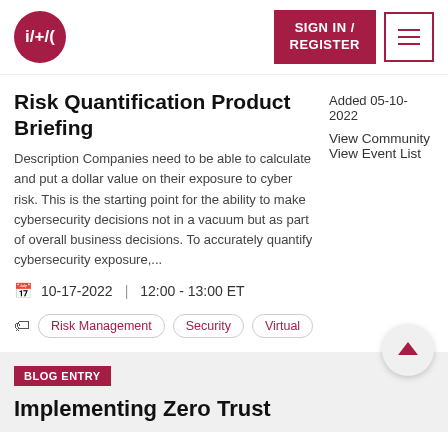i/+/\  SIGN IN / REGISTER  ≡
Risk Quantification Product Briefing
Description Companies need to be able to calculate and put a dollar value on their exposure to cyber risk. This is the starting point for the ability to make cybersecurity decisions not in a vacuum but as part of overall business decisions. To accurately quantify cybersecurity exposure,...
10-17-2022  |  12:00 - 13:00 ET
Added 05-10-2022
View Community
View Event List
Risk Management
Security
Virtual
BLOG ENTRY
Implementing Zero Trust